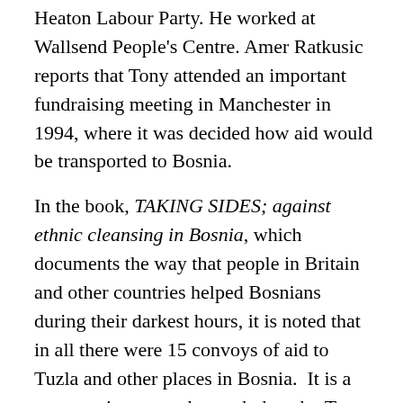Heaton Labour Party. He worked at Wallsend People's Centre. Amer Ratkusic reports that Tony attended an important fundraising meeting in Manchester in 1994, where it was decided how aid would be transported to Bosnia.

In the book, TAKING SIDES; against ethnic cleansing in Bosnia, which documents the way that people in Britain and other countries helped Bosnians during their darkest hours, it is noted that in all there were 15 convoys of aid to Tuzla and other places in Bosnia.  It is a great testimony to the work done by Tony that four of these convoys included lorries specifically from Tyneside. That is in addition to lorries and convoys from other parts of the UK which will have included contributions from Tyneside. This way, a lot of food and clothing from places such as Heaton made its way to Tuzla, a place which saw its share of brutal and